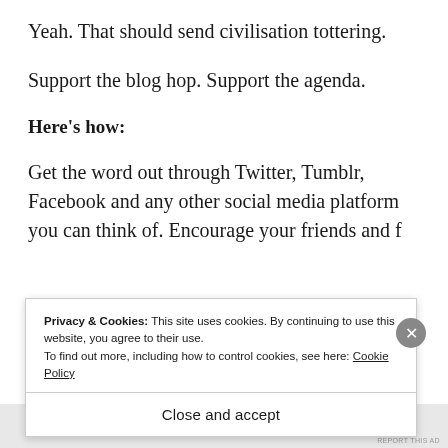Yeah. That should send civilisation tottering.
Support the blog hop. Support the agenda.
Here’s how:
Get the word out through Twitter, Tumblr, Facebook and any other social media platform you can think of. Encourage your friends and f
Privacy & Cookies: This site uses cookies. By continuing to use this website, you agree to their use.
To find out more, including how to control cookies, see here: Cookie Policy
Close and accept